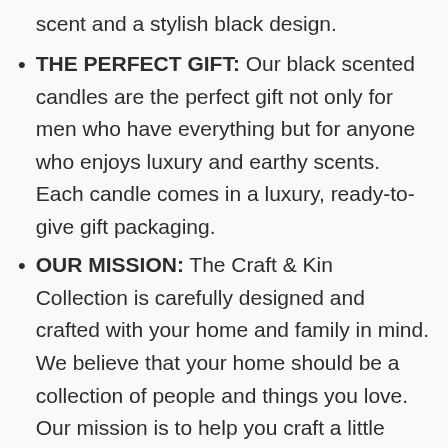scent and a stylish black design.
THE PERFECT GIFT: Our black scented candles are the perfect gift not only for men who have everything but for anyone who enjoys luxury and earthy scents. Each candle comes in a luxury, ready-to-give gift packaging.
OUR MISSION: The Craft & Kin Collection is carefully designed and crafted with your home and family in mind. We believe that your home should be a collection of people and things you love. Our mission is to help you craft a little more of that love with your kin.
2   Tyler Candles - Cowboy Scented Candle - 22 Ounce